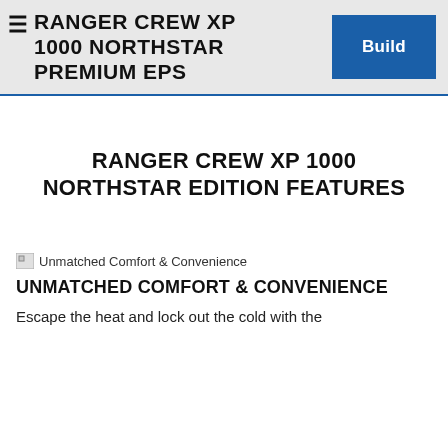RANGER CREW XP 1000 NORTHSTAR PREMIUM EPS
RANGER CREW XP 1000 NORTHSTAR EDITION FEATURES
[Figure (photo): Broken image placeholder with alt text: Unmatched Comfort & Convenience]
UNMATCHED COMFORT & CONVENIENCE
Escape the heat and lock out the cold with the